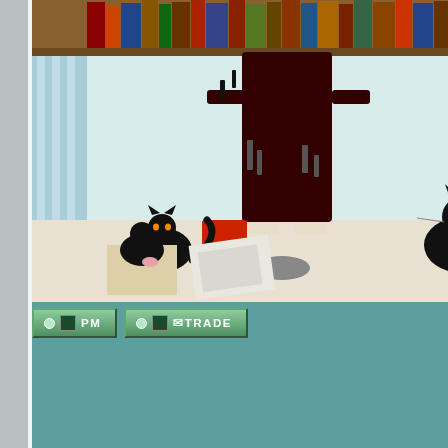[Figure (screenshot): Forum post with user avatar showing a cartoon character standing among black cats near a bookshelf. Below the avatar are PM and TRADE action buttons with green gradient styling.]
dragoncave | magis
snap & insta ~ trystar
"you are some kind of
"You're the highest le
You find i
Posted 08-02-2022, 10
25
[Figure (photo): Image showing glowing golden heart outlines with a red heart in the center on a dark background]